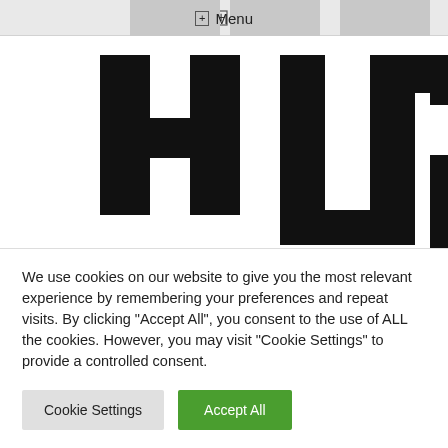⊞ Menu
[Figure (logo): Large black stylized logo letters partially visible, cropped. Top section shows large block letterforms in black on white background. Bottom section partially shows letters 'OPT' in thick black rounded font.]
We use cookies on our website to give you the most relevant experience by remembering your preferences and repeat visits. By clicking "Accept All", you consent to the use of ALL the cookies. However, you may visit "Cookie Settings" to provide a controlled consent.
Cookie Settings
Accept All